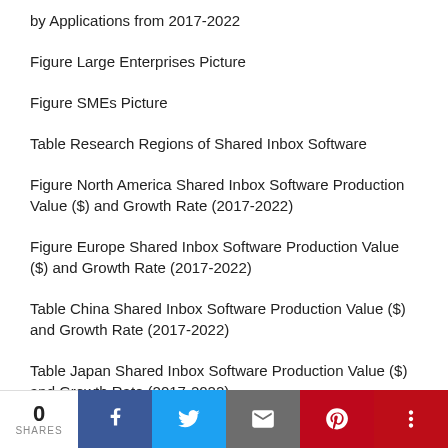by Applications from 2017-2022
Figure Large Enterprises Picture
Figure SMEs Picture
Table Research Regions of Shared Inbox Software
Figure North America Shared Inbox Software Production Value ($) and Growth Rate (2017-2022)
Figure Europe Shared Inbox Software Production Value ($) and Growth Rate (2017-2022)
Table China Shared Inbox Software Production Value ($) and Growth Rate (2017-2022)
Table Japan Shared Inbox Software Production Value ($) and Growth Rate (2017-2022)
Table Middle East & Africa Shared Inbox Software Production Value ($) and Growth Rate (2017-2022)
0 SHARES  [social share bar]  and Gr…